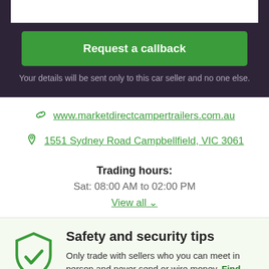Request a callback
Your details will be sent only to this car seller and no one else.
www.marketdirectcampertrailers.com.au
1551 Sydney Road Campbellfield, VIC 3061
Trading hours:
Sat: 08:00 AM to 02:00 PM
View all
Safety and security tips
Only trade with sellers who you can meet in person and never send or wire money. Find more helpful hints here.
Posted by: MDC Camper Trailers and Offroad Caravans (M...